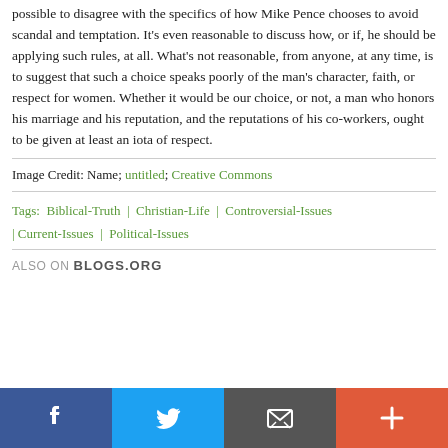possible to disagree with the specifics of how Mike Pence chooses to avoid scandal and temptation. It's even reasonable to discuss how, or if, he should be applying such rules, at all. What's not reasonable, from anyone, at any time, is to suggest that such a choice speaks poorly of the man's character, faith, or respect for women. Whether it would be our choice, or not, a man who honors his marriage and his reputation, and the reputations of his co-workers, ought to be given at least an iota of respect.
Image Credit: Name; untitled; Creative Commons
Tags:  Biblical-Truth  |  Christian-Life  |  Controversial-Issues  |  Current-Issues  |  Political-Issues
ALSO ON BLOGS.ORG